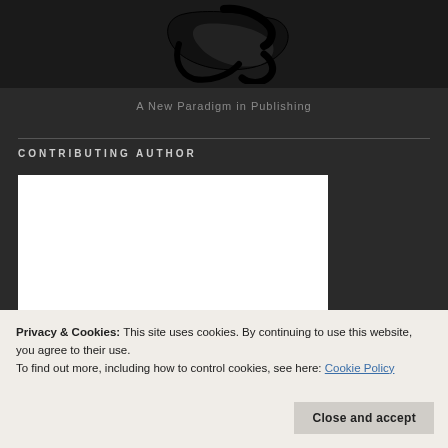[Figure (logo): Black brush-stroke style logo or calligraphic mark on dark background]
A New Paradigm in Publishing
CONTRIBUTING AUTHOR
[Figure (illustration): Book cover showing the word 'Story' in serif small-caps with a globe/earth image below]
Privacy & Cookies: This site uses cookies. By continuing to use this website, you agree to their use.
To find out more, including how to control cookies, see here: Cookie Policy
Close and accept